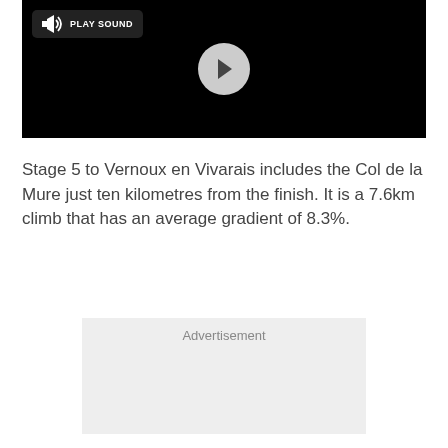[Figure (screenshot): Video player with black background, a play button (triangle) on a light gray circle in the center, and a 'PLAY SOUND' button with speaker icon in the top-left corner]
Stage 5 to Vernoux en Vivarais includes the Col de la Mure just ten kilometres from the finish. It is a 7.6km climb that has an average gradient of 8.3%.
Advertisement